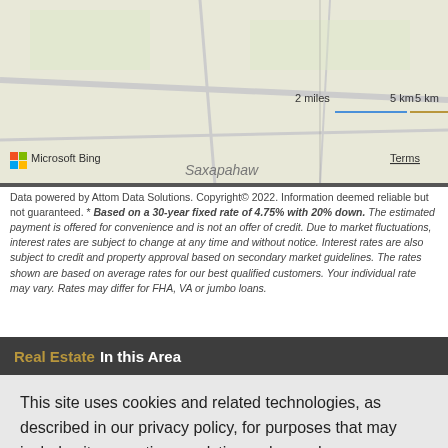[Figure (map): Bing Maps aerial/road map view showing Saxapahaw area with scale indicators (2 miles, 5 km), Microsoft Bing logo, and Terms link.]
Data powered by Attom Data Solutions. Copyright© 2022. Information deemed reliable but not guaranteed. * Based on a 30-year fixed rate of 4.75% with 20% down. The estimated payment is offered for convenience and is not an offer of credit. Due to market fluctuations, interest rates are subject to change at any time and without notice. Interest rates are also subject to credit and property approval based on secondary market guidelines. The rates shown are based on average rates for our best qualified customers. Your individual rate may vary. Rates may differ for FHA, VA or jumbo loans.
Real Estate In this Area
This site uses cookies and related technologies, as described in our privacy policy, for purposes that may include site operation, analytics, enhanced user experience, or advertising. You may choose to consent to our use of these technologies, or manage your own preferences.